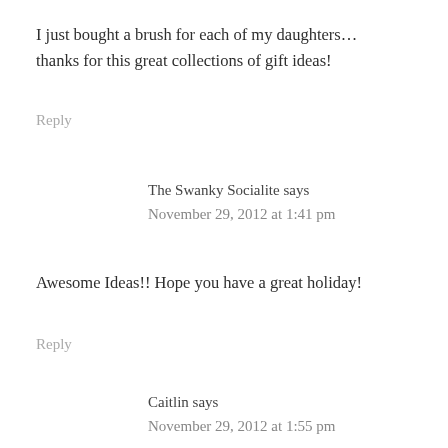I just bought a brush for each of my daughters… thanks for this great collections of gift ideas!
Reply
The Swanky Socialite says
November 29, 2012 at 1:41 pm
Awesome Ideas!! Hope you have a great holiday!
Reply
Caitlin says
November 29, 2012 at 1:55 pm